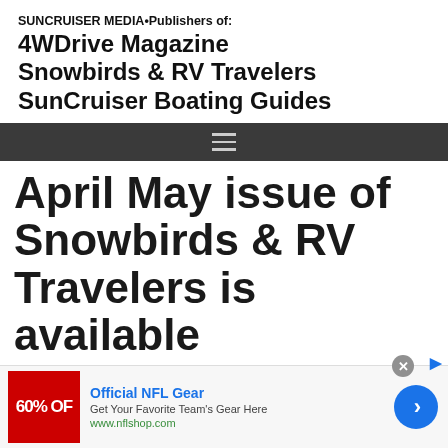SUNCRUISER MEDIA•Publishers of:
4WDrive Magazine
Snowbirds & RV Travelers
SunCruiser Boating Guides
April May issue of Snowbirds & RV Travelers is available
[Figure (screenshot): Advertisement banner for Official NFL Gear showing 60% off promotion, with blue arrow button]